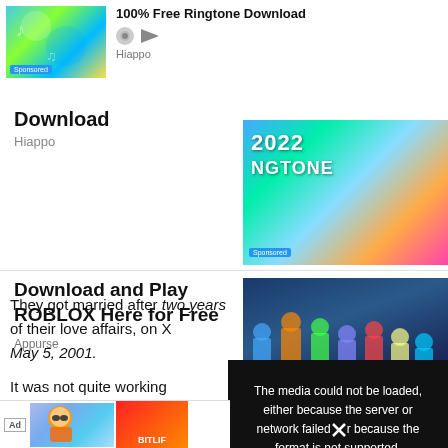[Figure (screenshot): Sponsored ad for 100% Free Ringtone Download by Hiappo with thumbnail image showing colorful music graphic]
100% Free Ringtone Download
Hiappo
Download
Hiappo
[Figure (screenshot): Sponsored ad thumbnail showing 2022 NGTONE colorful graphic]
[Figure (screenshot): Sponsored ad for Download and Play ROBLOX Here for Free by Appurse with Roblox characters thumbnail]
Download and Play ROBLOX Here for Free
Appurse
They got married after two years of their love affairs, on X May 5, 2001.
It was not quite working thought that she was cra marria
[Figure (screenshot): Black video error overlay: The media could not be loaded, either because the server or network failed or because the format is not supported.]
[Figure (screenshot): Bottom ad bar with Ad badge and colorful advertisement images including BitLif branded image]